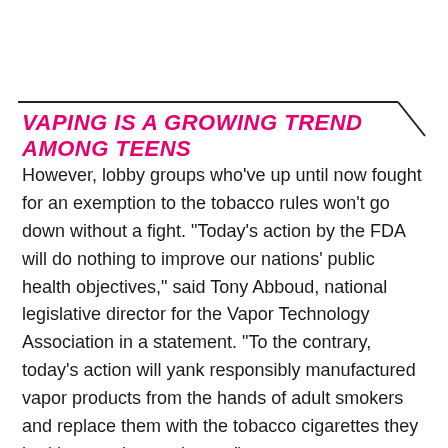VAPING IS A GROWING TREND AMONG TEENS
However, lobby groups who've up until now fought for an exemption to the tobacco rules won't go down without a fight. "Today's action by the FDA will do nothing to improve our nations' public health objectives," said Tony Abboud, national legislative director for the Vapor Technology Association in a statement. "To the contrary, today's action will yank responsibly manufactured vapor products from the hands of adult smokers and replace them with the tobacco cigarettes they had been trying to give up."